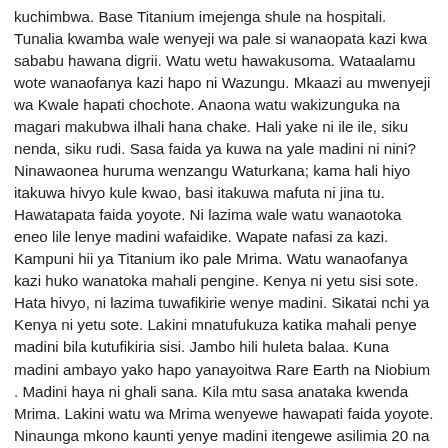kuchimbwa. Base Titanium imejenga shule na hospitali. Tunalia kwamba wale wenyeji wa pale si wanaopata kazi kwa sababu hawana digrii. Watu wetu hawakusoma. Wataalamu wote wanaofanya kazi hapo ni Wazungu. Mkaazi au mwenyeji wa Kwale hapati chochote. Anaona watu wakizunguka na magari makubwa ilhali hana chake. Hali yake ni ile ile, siku nenda, siku rudi. Sasa faida ya kuwa na yale madini ni nini? Ninawaonea huruma wenzangu Waturkana; kama hali hiyo itakuwa hivyo kule kwao, basi itakuwa mafuta ni jina tu. Hawatapata faida yoyote. Ni lazima wale watu wanaotoka eneo lile lenye madini wafaidike. Wapate nafasi za kazi. Kampuni hii ya Titanium iko pale Mrima. Watu wanaofanya kazi huko wanatoka mahali pengine. Kenya ni yetu sisi sote. Hata hivyo, ni lazima tuwafikirie wenye madini. Sikatai nchi ya Kenya ni yetu sote. Lakini mnatufukuza katika mahali penye madini bila kutufikiria sisi. Jambo hili huleta balaa. Kuna madini ambayo yako hapo yanayoitwa Rare Earth na Niobium . Madini haya ni ghali sana. Kila mtu sasa anataka kwenda Mrima. Lakini watu wa Mrima wenyewe hawapati faida yoyote. Ninaunga mkono kaunti yenye madini itengewe asilimia 20 na watu wa Mrima wapate haki yao. Ikiwa Serikali itachukua asilimia moja, je, watu wangapi wa Mrima watafaidika? Hakuna hata mmoja. Tunasema kwamba wale watu wa Mrima wafaidike kwa nza, kisha Kaunti ya Kwale na nchi